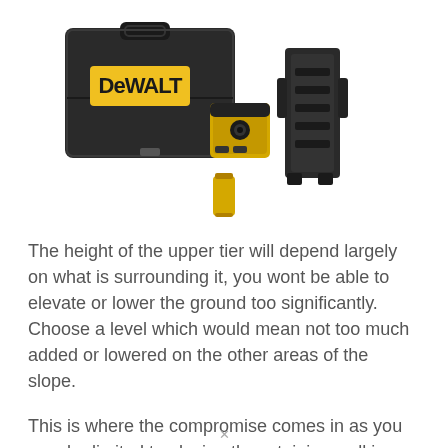[Figure (photo): DeWalt laser level tool kit showing a black carrying case with yellow DeWalt logo, a cross-line laser level device in yellow and black, a mounting bracket/clamp, and a battery. Product accessories laid out together.]
The height of the upper tier will depend largely on what is surrounding it, you wont be able to elevate or lower the ground too significantly. Choose a level which would mean not too much added or lowered on the other areas of the slope.
This is where the compromise comes in as you may be limited to placing the retaining wall in only a set few